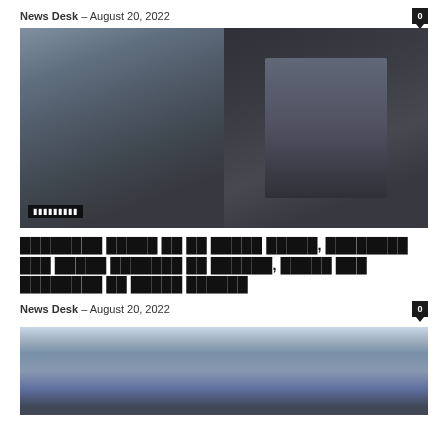News Desk – August 20, 2022
[Figure (photo): Two-panel image: left panel shows a bearded man in a blue sweater, right panel shows a person holding a gun]
Hindi headline text about news story - August 20 2022
News Desk – August 20, 2022
[Figure (photo): Boats/ferries docked at a harbor with hills in the background]